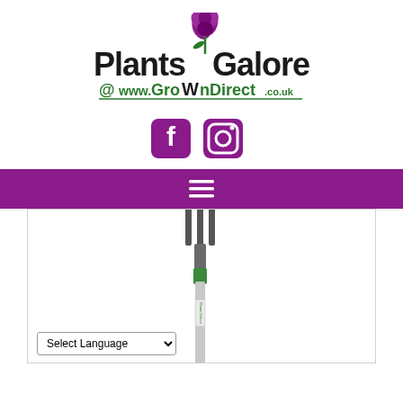[Figure (logo): Plants Galore @ www.GroWnDirect.co.uk logo with purple rose illustration]
[Figure (logo): Facebook and Instagram social media icons in purple]
[Figure (infographic): Purple navigation bar with hamburger menu icon (three white horizontal lines)]
[Figure (photo): Garden fork/cultivator tool with green handle, photo on white background]
Select Language